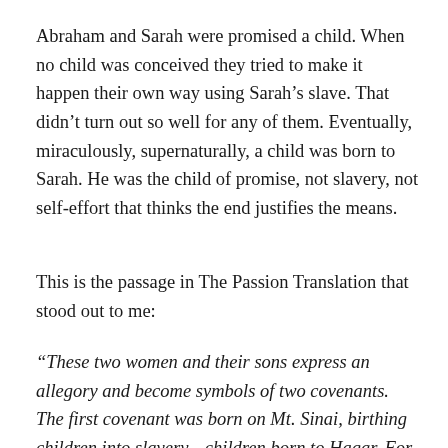Abraham and Sarah were promised a child. When no child was conceived they tried to make it happen their own way using Sarah’s slave. That didn’t turn out so well for any of them. Eventually, miraculously, supernaturally, a child was born to Sarah. He was the child of promise, not slavery, not self-effort that thinks the end justifies the means.
This is the passage in The Passion Translation that stood out to me:
“These two women and their sons express an allegory and become symbols of two covenants. The first covenant was born on Mt. Sinai, birthing children into slavery—children born to Hagar. For “Hagar”